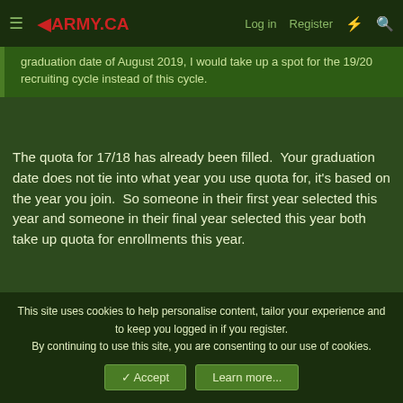◀ARMY.CA — Log in | Register
graduation date of August 2019, I would take up a spot for the 19/20 recruiting cycle instead of this cycle.
The quota for 17/18 has already been filled. Your graduation date does not tie into what year you use quota for, it's based on the year you join. So someone in their first year selected this year and someone in their final year selected this year both take up quota for enrollments this year.
306FL306
Guest
13 Jan 2019
#20
This site uses cookies to help personalise content, tailor your experience and to keep you logged in if you register.
By continuing to use this site, you are consenting to our use of cookies.